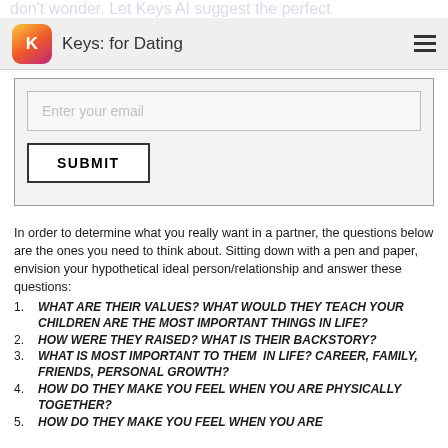Keys: for Dating
[Figure (screenshot): App header with Keys for Dating logo icon and hamburger menu, plus email input field and Submit button]
In order to determine what you really want in a partner, the questions below are the ones you need to think about. Sitting down with a pen and paper, envision your hypothetical ideal person/relationship and answer these questions:
WHAT ARE THEIR VALUES? WHAT WOULD THEY TEACH YOUR CHILDREN ARE THE MOST IMPORTANT THINGS IN LIFE?
HOW WERE THEY RAISED? WHAT IS THEIR BACKSTORY?
WHAT IS MOST IMPORTANT TO THEM IN LIFE? CAREER, FAMILY, FRIENDS, PERSONAL GROWTH?
HOW DO THEY MAKE YOU FEEL WHEN YOU ARE PHYSICALLY TOGETHER?
HOW DO THEY MAKE YOU FEEL WHEN YOU ARE